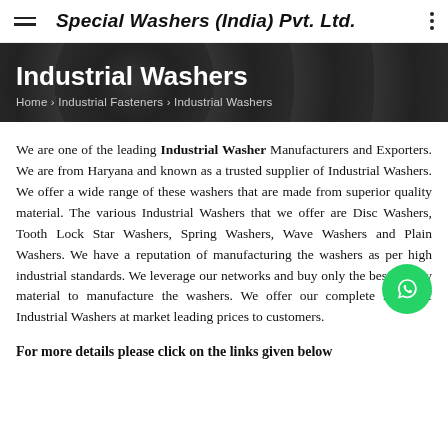Special Washers (India) Pvt. Ltd.
Industrial Washers
Home › Industrial Fasteners › Industrial Washers
We are one of the leading Industrial Washer Manufacturers and Exporters. We are from Haryana and known as a trusted supplier of Industrial Washers. We offer a wide range of these washers that are made from superior quality material. The various Industrial Washers that we offer are Disc Washers, Tooth Lock Star Washers, Spring Washers, Wave Washers and Plain Washers. We have a reputation of manufacturing the washers as per high industrial standards. We leverage our networks and buy only the best quality material to manufacture the washers. We offer our complete range of Industrial Washers at market leading prices to customers.
For more details please click on the links given below